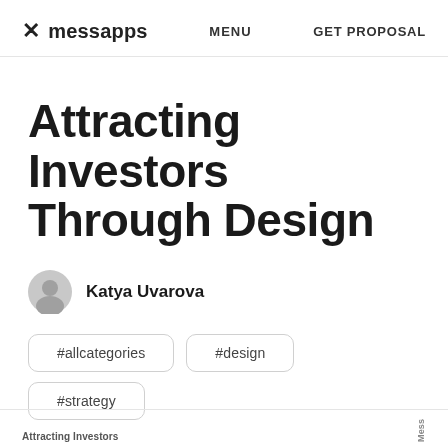× messapps   MENU   GET PROPOSAL
Attracting Investors Through Design
Katya Uvarova
#allcategories
#design
#strategy
Attracting Investors   Mess